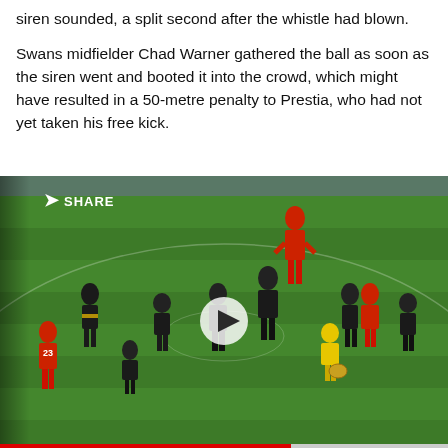siren sounded, a split second after the whistle had blown.
Swans midfielder Chad Warner gathered the ball as soon as the siren went and booted it into the crowd, which might have resulted in a 50-metre penalty to Prestia, who had not yet taken his free kick.
[Figure (photo): Video still of an AFL match on a green oval. Multiple players in dark (Richmond) and red/white (Sydney Swans) uniforms stand on the field. A yellow-vested field umpire holds the ball near the centre. A SHARE button overlay is visible in the top-left corner, with a play button triangle in the centre of the video frame.]
[Figure (photo): Thumbnail strip at the bottom showing multiple smaller images of AFL players and teams in various uniforms, with an X close button on the right.]